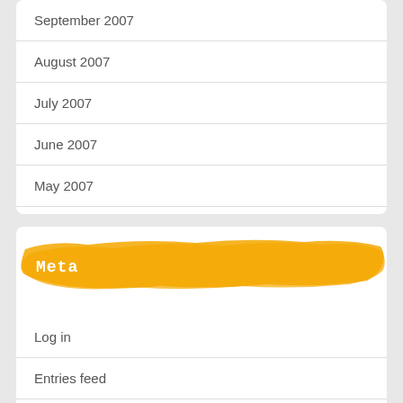September 2007
August 2007
July 2007
June 2007
May 2007
Meta
Log in
Entries feed
Comments feed